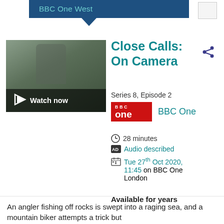BBC One West
[Figure (screenshot): Thumbnail showing a man outdoors with Watch now overlay button]
Close Calls: On Camera
Series 8, Episode 2
[Figure (logo): BBC One red logo badge]
BBC One
28 minutes
Audio described
Tue 27th Oct 2020, 11:45 on BBC One London
Available for years
An angler fishing off rocks is swept into a raging sea, and a mountain biker attempts a trick but